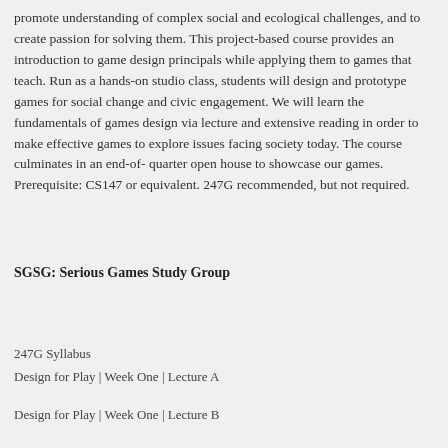promote understanding of complex social and ecological challenges, and to create passion for solving them. This project-based course provides an introduction to game design principals while applying them to games that teach. Run as a hands-on studio class, students will design and prototype games for social change and civic engagement. We will learn the fundamentals of games design via lecture and extensive reading in order to make effective games to explore issues facing society today. The course culminates in an end-of- quarter open house to showcase our games. Prerequisite: CS147 or equivalent. 247G recommended, but not required.
SGSG: Serious Games Study Group
247G Syllabus
Design for Play | Week One | Lecture A
Design for Play | Week One | Lecture B